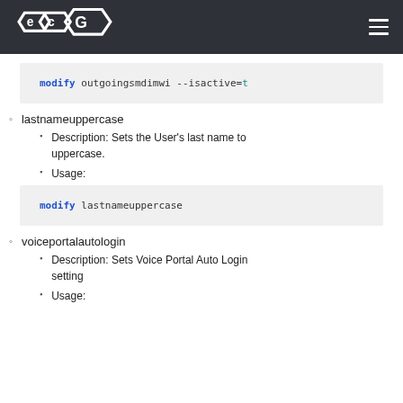ECG logo and navigation
lastnameuppercase
Description: Sets the User's last name to uppercase.
Usage:
voiceportalautologin
Description: Sets Voice Portal Auto Login setting
Usage: